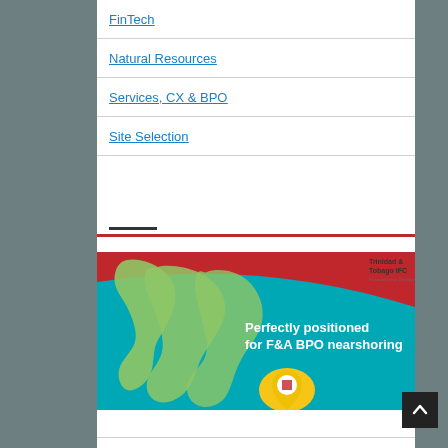FinTech
Natural Resources
Services, CX & BPO
Site Selection
[Figure (illustration): Trinidad & Tobago IFC banner showing a map of the Americas with text 'Perfectly positioned for F&A BPO nearshoring' and a map pin icon over Trinidad & Tobago]
META